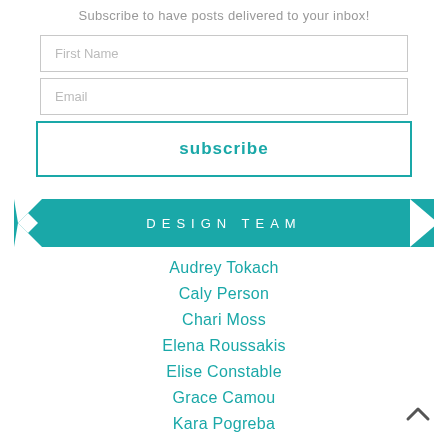Subscribe to have posts delivered to your inbox!
First Name
Email
subscribe
DESIGN TEAM
Audrey Tokach
Caly Person
Chari Moss
Elena Roussakis
Elise Constable
Grace Camou
Kara Pogreba